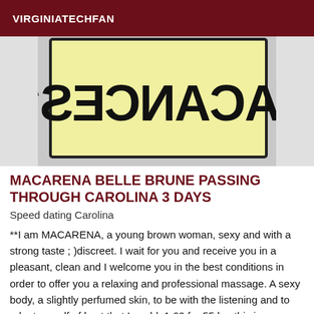VIRGINIATECHFAN
[Figure (illustration): A yellow hand-drawn sign with the word VACANCES written in large black letters, mirrored/reversed, on a slightly distressed background.]
MACARENA BELLE BRUNE PASSING THROUGH CAROLINA 3 DAYS
Speed dating Carolina
**I am MACARENA, a young brown woman, sexy and with a strong taste ; )discreet. I wait for you and receive you in a pleasant, clean and I welcome you in the best conditions in order to offer you a relaxing and professional massage. A sexy body, a slightly perfumed skin, to be with the listening and to adapt myself of best that I could. 1.60 for 55 kg. this is exclusively for